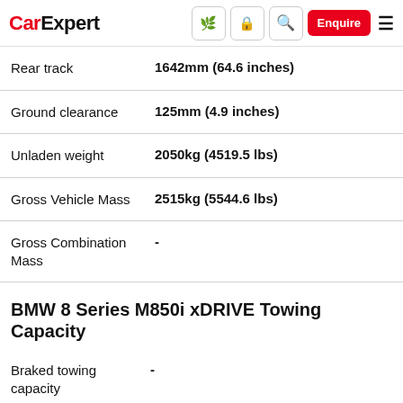CarExpert — Navigation bar with Enquire button
| Specification | Value |
| --- | --- |
| Rear track | 1642mm (64.6 inches) |
| Ground clearance | 125mm (4.9 inches) |
| Unladen weight | 2050kg (4519.5 lbs) |
| Gross Vehicle Mass | 2515kg (5544.6 lbs) |
| Gross Combination Mass | - |
BMW 8 Series M850i xDRIVE Towing Capacity
| Specification | Value |
| --- | --- |
| Braked towing capacity | - |